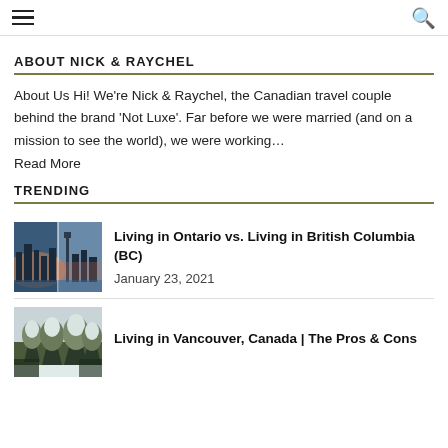Navigation bar with hamburger menu and search icon
ABOUT NICK & RAYCHEL
About Us Hi! We're Nick & Raychel, the Canadian travel couple behind the brand 'Not Luxe'. Far before we were married (and on a mission to see the world), we were working… Read More
TRENDING
[Figure (photo): Split image of Ontario and British Columbia city skylines at dusk]
Living in Ontario vs. Living in British Columbia (BC)
January 23, 2021
[Figure (photo): Photo related to Vancouver, Canada article — snowy trees visible]
Living in Vancouver, Canada | The Pros & Cons